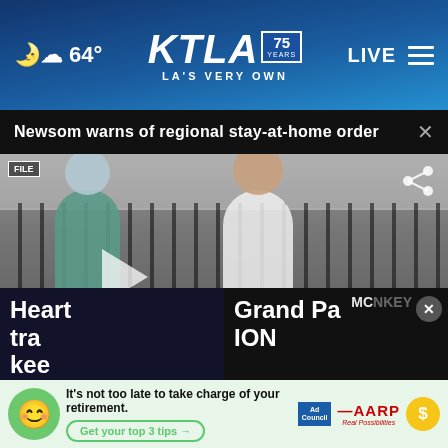64° | KTLA 75 YEARS | LA'S VERY OWN | LIVE
Newsom warns of regional stay-at-home order
[Figure (screenshot): Video thumbnail showing people at an outdoor COVID-19 testing site. A healthcare worker in PPE and a person in white shirt. Lower third shows: GOV. NEWSOM WARNS OF REGIONAL STAY-AT-HOME ORDER, NEWS AT 1. Traffic ticker: TRAFFIC | n Ave | I-105 I-105 W/B: exit ramp to Long Beach Blvd N/B shoulder blocked. | 76° | 1:01p]
Heart tra kee th
Grand Pa ION of
It's not too late to take charge of your retirement. Get your top 3 tips →